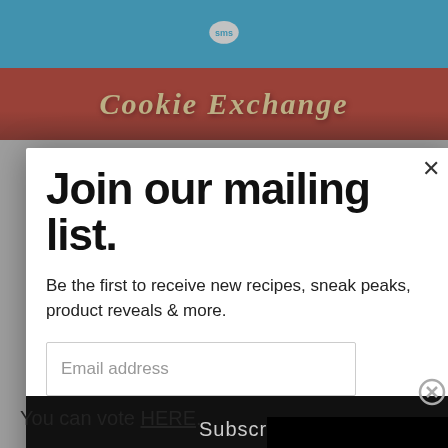[Figure (screenshot): Top blue header bar with SMS logo (speech bubble icon)]
[Figure (screenshot): Cookie Exchange red banner with decorative italic text]
[Figure (screenshot): Modal dialog: Join our mailing list. Be the first to receive new recipes, sneak peaks, product reveals & more. Email address input and Subscribe button. X close button in top right.]
[Figure (screenshot): Black video player overlay with circular spinner and CLOSE button, partially obscuring modal]
You can vote HERE.